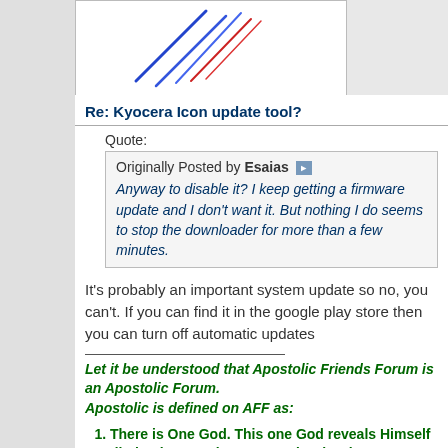[Figure (illustration): Partial image showing stylized pen/pencil strokes, blue and red lines on white background]
Re: Kyocera Icon update tool?
Quote:
Originally Posted by Esaias
Anyway to disable it? I keep getting a firmware update and I don't want it. But nothing I do seems to stop the downloader for more than a few minutes.
It's probably an important system update so no, you can't. If you can find it in the google play store then you can turn off automatic updates
Let it be understood that Apostolic Friends Forum is an Apostolic Forum.
Apostolic is defined on AFF as:
There is One God. This one God reveals Himself distinctly as Father, Son and Holy Ghost.
The Son is God himself in a human form or "God manifested in the flesh" (1Tim 3:16)
Every sinner must repent of their sins.
That Jesus name baptism is the only biblical mode of water baptism.
That the Holy Ghost is for today and is received by faith with the initial evidence of speaking in tongues.